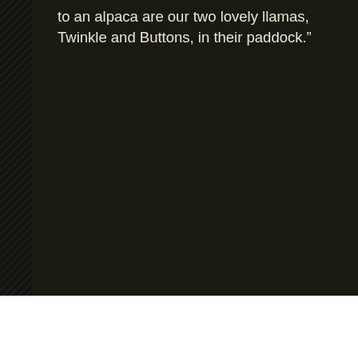to an alpaca are our two lovely llamas, Twinkle and Buttons, in their paddock."